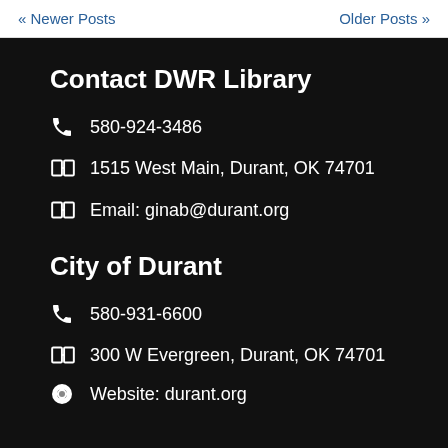« Newer Posts    Older Posts »
Contact DWR Library
580-924-3486
1515 West Main, Durant, OK 74701
Email: ginab@durant.org
City of Durant
580-931-6600
300 W Evergreen, Durant, OK 74701
Website: durant.org